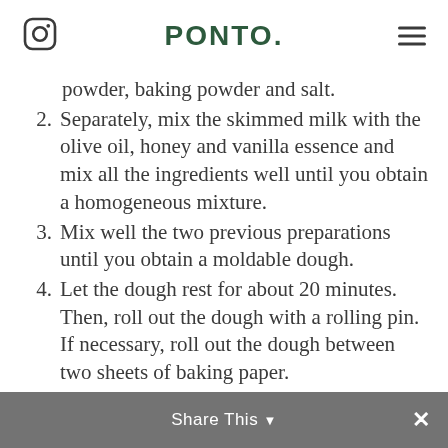PONTO.
powder, baking powder and salt.
2. Separately, mix the skimmed milk with the olive oil, honey and vanilla essence and mix all the ingredients well until you obtain a homogeneous mixture.
3. Mix well the two previous preparations until you obtain a moldable dough.
4. Let the dough rest for about 20 minutes. Then, roll out the dough with a rolling pin. If necessary, roll out the dough between two sheets of baking paper.
5. After having the dough rolled out, make circular cuts in the dough with the help of a circular mold or a glass. Be careful that the dough does not... remember that for
Share This ✕